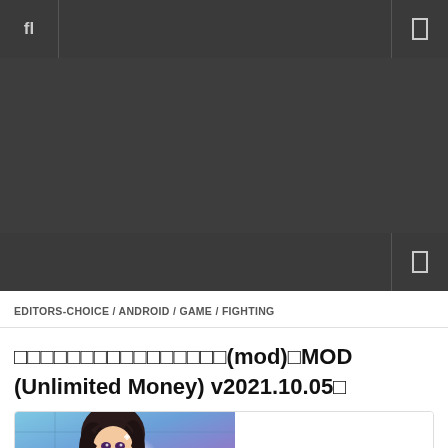fl [search icon] [menu icon]
[Figure (screenshot): Dark gray advertisement banner area]
[Figure (screenshot): Dark gray sub-navigation bar with menu icon on right]
EDITORS-CHOICE / ANDROID / GAME / FIGHTING
□□□□□□□□□□□□□□□□(mod)□MOD (Unlimited Money) v2021.10.05□
[Figure (illustration): Anime-style illustration showing a female character with dark hair against a bright background with sparkles]